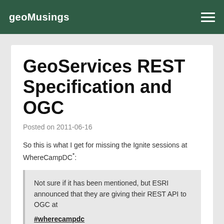geoMusings
GeoServices REST Specification and OGC
Posted on 2011-06-16
So this is what I get for missing the Ignite sessions at WhereCampDC*:
Not sure if it has been mentioned, but ESRI announced that they are giving their REST API to OGC at #wherecampdc